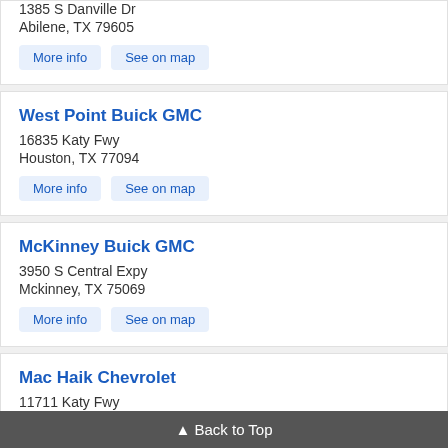1385 S Danville Dr
Abilene, TX 79605
More info | See on map
West Point Buick GMC
16835 Katy Fwy
Houston, TX 77094
More info | See on map
McKinney Buick GMC
3950 S Central Expy
Mckinney, TX 75069
More info | See on map
Mac Haik Chevrolet
11711 Katy Fwy
Houston, TX 77079
▲ Back to Top